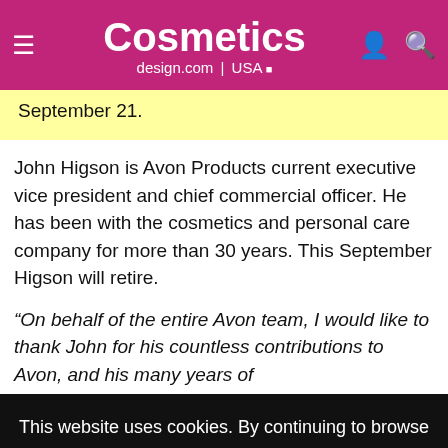Cosmetics design.com | USA
September 21.
John Higson is Avon Products current executive vice president and chief commercial officer. He has been with the cosmetics and personal care company for more than 30 years. This September Higson will retire.
“On behalf of the entire Avon team, I would like to thank John for his countless contributions to Avon, and his many years of
This website uses cookies. By continuing to browse our website, you are agreeing to our use of cookies. You can learn more about cookies by visiting our privacy & cookies policy page.